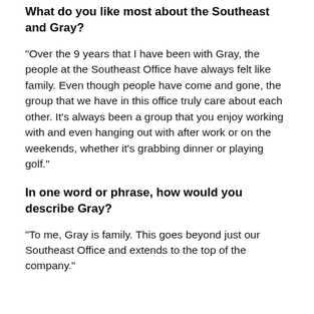What do you like most about the Southeast and Gray?
“Over the 9 years that I have been with Gray, the people at the Southeast Office have always felt like family. Even though people have come and gone, the group that we have in this office truly care about each other. It’s always been a group that you enjoy working with and even hanging out with after work or on the weekends, whether it’s grabbing dinner or playing golf.”
In one word or phrase, how would you describe Gray?
“To me, Gray is family. This goes beyond just our Southeast Office and extends to the top of the company.”